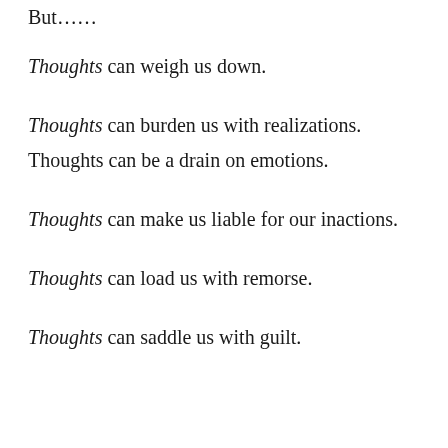But……
Thoughts can weigh us down.
Thoughts can burden us with realizations.
Thoughts can be a drain on emotions.
Thoughts can make us liable for our inactions.
Thoughts can load us with remorse.
Thoughts can saddle us with guilt.